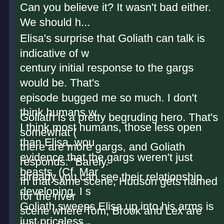Can you believe it? It wasn't bad either. We should h...
Elisa's surprise that Goliath can talk is indicative of w... century initial response to the gargs would be. That's... episode bugged me so much. I don't think humans w... I think most humans, those less open than Elisa, wou... evidence that the gargs weren't just beasts. (Cf. Mar...
Goliath is a pretty begruding hero. That's somewhat ... there are more gargs, and Goliath responds: "Barely... already you can see their relationship developing. I s... Goliath sweeps Elisa up into his arms is just priceless...
In that same scene, Hudson gets named for the river... scene where Tom, Brook and Lex are talking about n... name most of the gargoyles until we got to NYC '94,... to use those fun, cool NY names for most of the char... the rationale for it, and once I managed to explain it t... the concept. Hudson's lament, here, that humans do... they've put there stamp on it, is, to me at least, so da... feeble and circular. "Things need names." Pathetic. B... a human. But I aspire to gargoylosity. Anyway, after H...